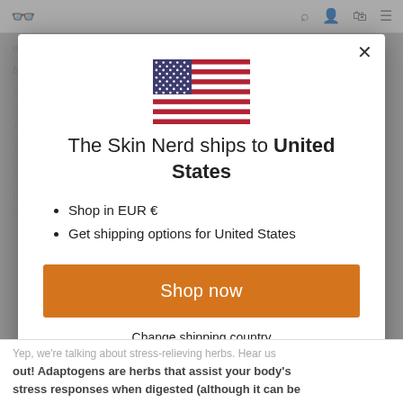the skin nerd
brain functions that regulate anxiety.
A nerdie interlude: good gut health equals a good mood (and skin) because of our brain-gut-skin axis. The American Psychiatric Association report that our 'gut bacteria manufacture about 95 percent of the body's supply of serotonin [our natural feel-good chemical]'. So it's super important you're getting the right nutrition and cutting back on your intake of caffeine and processed foods.
[Figure (illustration): US flag icon]
The Skin Nerd ships to United States
Shop in EUR €
Get shipping options for United States
Shop now
Change shipping country
Yep, we're talking about stress-relieving herbs. Hear us out! Adaptogens are herbs that assist your body's stress responses when digested (although it can be